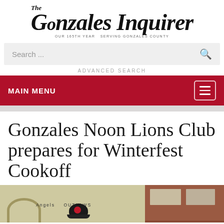The Gonzales Inquirer
OUR 165TH YEAR  SERVING GONZALES COUNTY
Search ...
ADVANCED SEARCH
MAIN MENU
Gonzales Noon Lions Club prepares for Winterfest Cookoff
[Figure (photo): Street scene showing buildings downtown with a banner reading 'Angels OUTLAWS' and a person in a black helmet costume in the foreground]